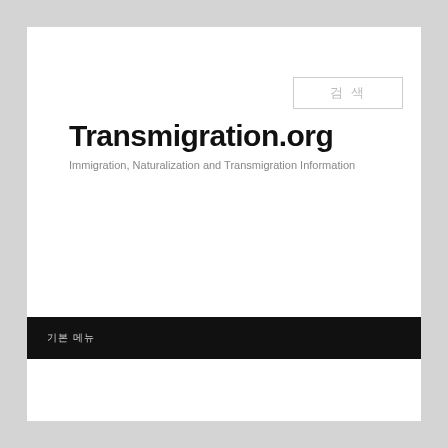Transmigration.org
Immigration, Naturalization and Transmigration Information
기본 메뉴
게시일자: 02/17/2015
← 앞 뒤 →